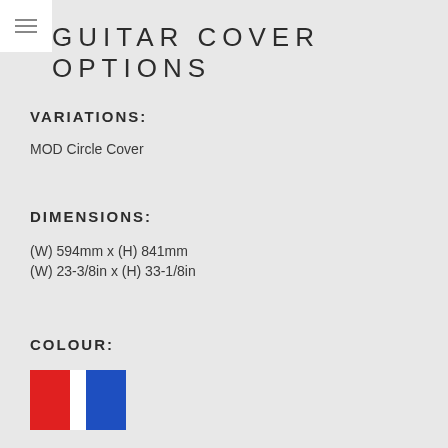GUITAR COVER OPTIONS
VARIATIONS:
MOD Circle Cover
DIMENSIONS:
(W) 594mm x (H) 841mm
(W) 23-3/8in x (H) 33-1/8in
COLOUR:
[Figure (illustration): French flag colour swatches: red, white, and blue vertical stripes]